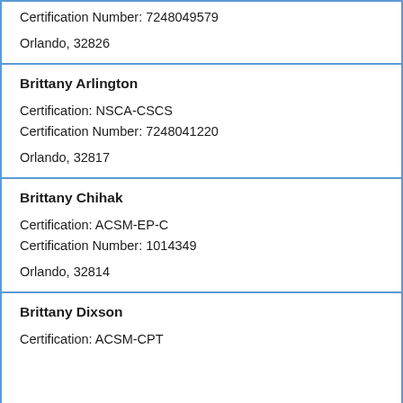Certification Number: 7248049579
Orlando, 32826
Brittany Arlington
Certification: NSCA-CSCS
Certification Number: 7248041220
Orlando, 32817
Brittany Chihak
Certification: ACSM-EP-C
Certification Number: 1014349
Orlando, 32814
Brittany Dixson
Certification: ACSM-CPT